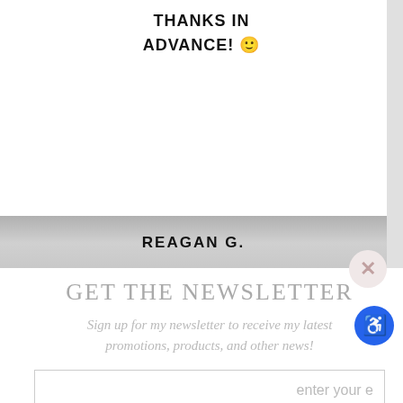THANKS IN ADVANCE! 🙂
REAGAN G.
GET THE NEWSLETTER
Sign up for my newsletter to receive my latest promotions, products, and other news!
enter your e
sign up